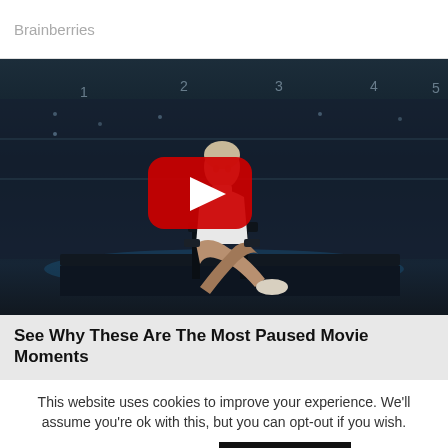Brainberries
[Figure (screenshot): Video thumbnail showing a woman in white turtleneck seated in interrogation room, with YouTube play button overlay. Numbers 1-5 visible on wall behind her.]
See Why These Are The Most Paused Movie Moments
This website uses cookies to improve your experience. We'll assume you're ok with this, but you can opt-out if you wish.
Cookie settings   ACCEPT